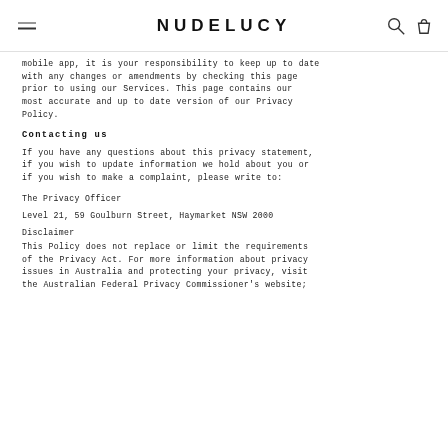NUDELUCY
mobile app, it is your responsibility to keep up to date with any changes or amendments by checking this page prior to using our Services. This page contains our most accurate and up to date version of our Privacy Policy.
Contacting us
If you have any questions about this privacy statement, if you wish to update information we hold about you or if you wish to make a complaint, please write to:
The Privacy Officer
Level 21, 59 Goulburn Street, Haymarket NSW 2000
Disclaimer
This Policy does not replace or limit the requirements of the Privacy Act. For more information about privacy issues in Australia and protecting your privacy, visit the Australian Federal Privacy Commissioner's website;